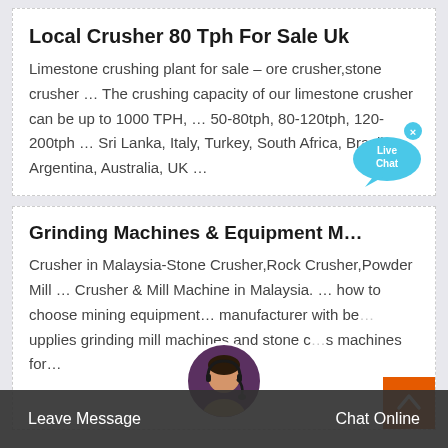Local Crusher 80 Tph For Sale Uk
Limestone crushing plant for sale – ore crusher,stone crusher … The crushing capacity of our limestone crusher can be up to 1000 TPH, … 50-80tph, 80-120tph, 120-200tph … Sri Lanka, Italy, Turkey, South Africa, Brazil, Argentina, Australia, UK …
Grinding Machines & Equipment M…
Crusher in Malaysia-Stone Crusher,Rock Crusher,Powder Mill … Crusher & Mill Machine in Malaysia. … how to choose mining equipment… manufacturer with be…upplies grinding mill machines and stone c…s machines for…
Leave Message   Chat Online